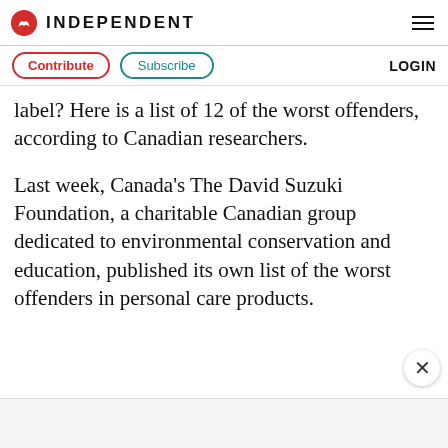INDEPENDENT
label? Here is a list of 12 of the worst offenders, according to Canadian researchers.
Last week, Canada's The David Suzuki Foundation, a charitable Canadian group dedicated to environmental conservation and education, published its own list of the worst offenders in personal care products.